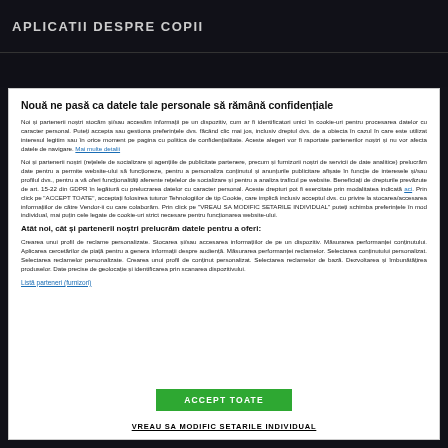APLICATII DESPRE COPII
Nouă ne pasă ca datele tale personale să rămână confidențiale
Noi și partenerii noștri stocăm și/sau accesăm informații pe un dispozitiv, cum ar fi identificatori unici în cookie-uri pentru procesarea datelor cu caracter personal. Puteți accepta sau gestiona preferințele dvs. făcând clic mai jos, inclusiv dreptul dvs. de a obiecta în cazul în care este utilizat interesul legitim sau în orice moment pe pagina cu politica de confidențialitate. Aceste alegeri vor fi raportate partenerilor noștri și nu vor afecta datele de navigare. Mai multe detalii
Noi și partenerii noștri (rețelele de socializare și agențiile de publicitate partenere, precum și furnizorii noștri de servicii de date analitice) prelucrăm date pentru a permite website-ului să funcționeze, pentru a personaliza conținutul și anunțurile publicitare afișate în funcție de interesele și/sau profilul dvs., pentru a vă oferi funcționalități aferente rețelelor de socializare și pentru a analiza traficul pe website. Beneficiați de drepturile prevăzute de art. 15-22 din GDPR în legătură cu prelucrarea datelor cu caracter personal. Aceste drepturi pot fi exercitate prin modalitatea indicată aci. Prin click pe "ACCEPT TOATE", acceptați folosirea tuturor Tehnologiilor de tip Cookie, care implică inclusiv acceptul dvs. cu privire la stocarea/accesarea informațiilor de către Vendor-ii cu care colaborăm. Prin click pe "VREAU SA MODIFIC SETARILE INDIVIDUAL" puteți schimba preferințele în mod individual, mai puțin cele legate de cookie-uri strict necesare pentru funcționarea website-ului.
Atât noi, cât și partenerii noștri prelucrăm datele pentru a oferi:
Crearea unui profil de reclame personalizate. Stocarea și/sau accesarea informațiilor de pe un dispozitiv. Măsurarea performanței conținutului. Aplicarea cercetărilor de piață pentru a genera informații despre audiență. Măsurarea performanței reclamelor. Selectarea conținutului personalizat. Selectarea reclamelor personalizate. Crearea unui profil de conținut personalizat. Selectarea reclamelor de bază. Dezvoltarea și îmbunătățirea produselor. Date precise de geolocație și identificarea prin scanarea dispozitivului.
Listă parteneri (furnizori)
ACCEPT TOATE
VREAU SA MODIFIC SETARILE INDIVIDUAL